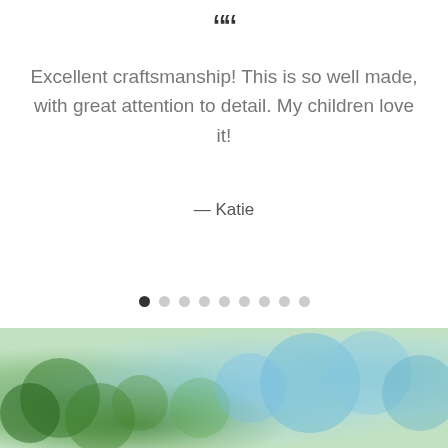““
Excellent craftsmanship! This is so well made, with great attention to detail. My children love it!
— Katie
[Figure (other): Carousel navigation dots, 9 dots total, first dot filled black (active), remaining 8 dots light grey]
[Figure (photo): Bottom decorative image showing green and blue watercolor/bokeh background with soft green and teal tones]